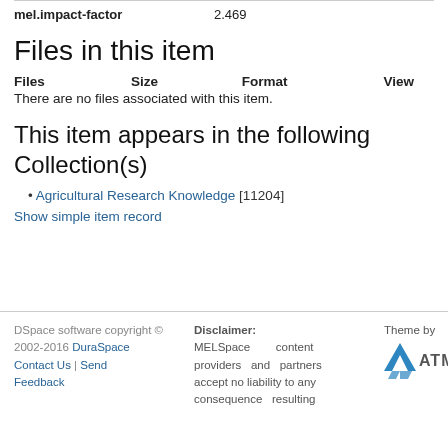|  |  |
| --- | --- |
| mel.impact-factor | 2.469 |
Files in this item
| Files | Size | Format | View |
| --- | --- | --- | --- |
| There are no files associated with this item. |  |  |  |
This item appears in the following Collection(s)
Agricultural Research Knowledge [11204]
Show simple item record
DSpace software copyright © 2002-2016 DuraSpace Contact Us | Send Feedback   Disclaimer: MELSpace content providers and partners accept no liability to any consequence resulting   Theme by ATMIRE